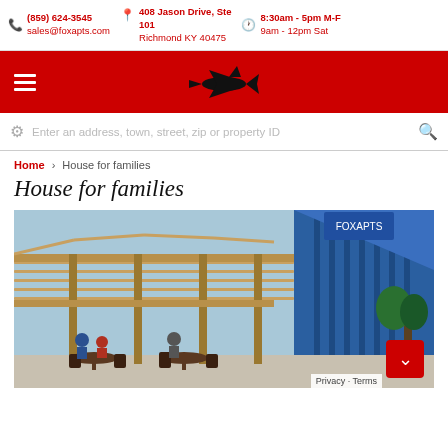(859) 624-3545 | sales@foxapts.com | 408 Jason Drive, Ste 101 Richmond KY 40475 | 8:30am - 5pm M-F 9am - 12pm Sat
[Figure (logo): Fox Apartments logo on red navigation bar with hamburger menu icon]
Enter an address, town, street, zip or property ID
Home > House for families
House for families
[Figure (photo): Outdoor pergola/patio area with wooden structure, people seated at tables, blue metal building in background]